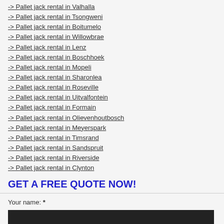-> Pallet jack rental in Valhalla
-> Pallet jack rental in Tsongweni
-> Pallet jack rental in Boitumelo
-> Pallet jack rental in Willowbrae
-> Pallet jack rental in Lenz
-> Pallet jack rental in Boschhoek
-> Pallet jack rental in Mopeli
-> Pallet jack rental in Sharonlea
-> Pallet jack rental in Roseville
-> Pallet jack rental in Uitvalfontein
-> Pallet jack rental in Formain
-> Pallet jack rental in Olievenhoutbosch
-> Pallet jack rental in Meyerspark
-> Pallet jack rental in Timsrand
-> Pallet jack rental in Sandspruit
-> Pallet jack rental in Riverside
-> Pallet jack rental in Clynton
GET A FREE QUOTE NOW!
Your name: *